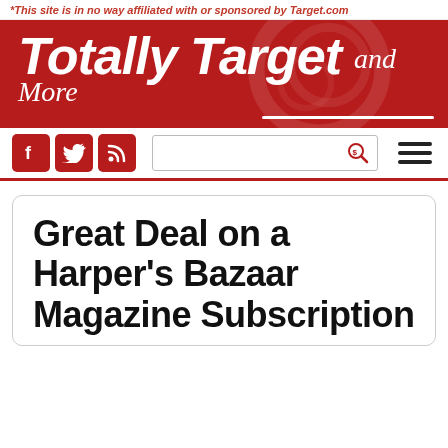*This site is in no way affiliated with or sponsored by Target.com
[Figure (logo): Totally Target and More logo on red banner background]
[Figure (screenshot): Navigation bar with Facebook, Twitter, RSS social icons, search box, and hamburger menu]
Great Deal on a Harper’s Bazaar Magazine Subscription